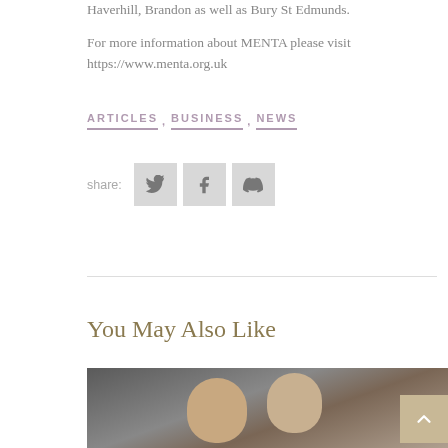Haverhill, Brandon as well as Bury St Edmunds.
For more information about MENTA please visit https://www.menta.org.uk
ARTICLES, BUSINESS, NEWS
[Figure (other): Share buttons row: share: label followed by three icon buttons for Twitter, Facebook, and Tumblr]
You May Also Like
[Figure (photo): Photo of two people (children or adults), partially visible, dark background with blue tones]